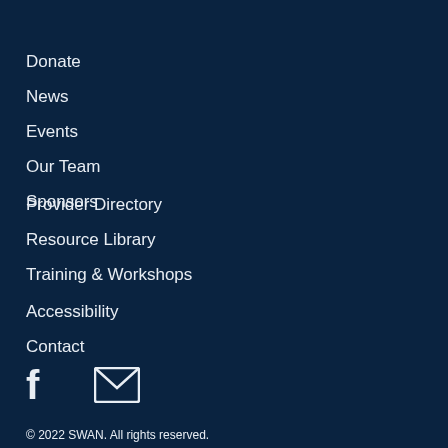Donate
News
Events
Our Team
Sponsors
Provider Directory
Resource Library
Training & Workshops
Accessibility
Contact
[Figure (illustration): Facebook icon (f) and email envelope icon in white on dark navy background]
© 2022 SWAN. All rights reserved.